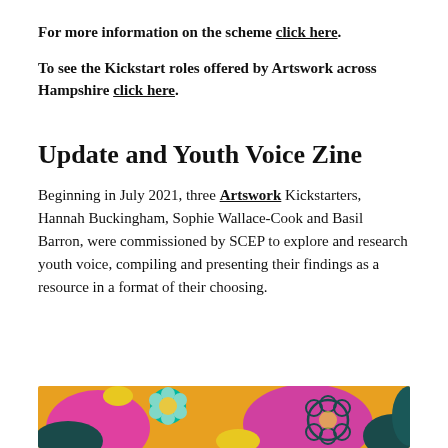For more information on the scheme click here.
To see the Kickstart roles offered by Artswork across Hampshire click here.
Update and Youth Voice Zine
Beginning in July 2021, three Artswork Kickstarters, Hannah Buckingham, Sophie Wallace-Cook and Basil Barron, were commissioned by SCEP to explore and research youth voice, compiling and presenting their findings as a resource in a format of their choosing.
[Figure (illustration): Colorful floral illustration with pink, yellow, teal and dark teal colors, showing abstract flowers and foliage shapes.]